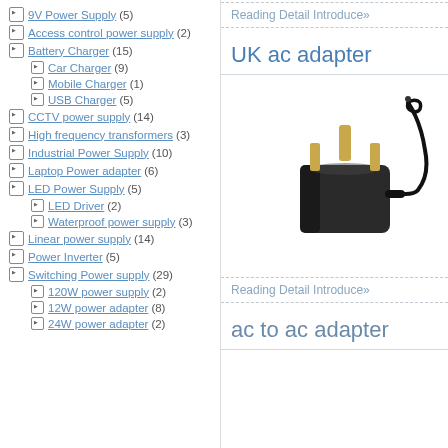9V Power Supply (5)
Access control power supply (2)
Battery Charger (15)
Car Charger (9)
Mobile Charger (1)
USB Charger (5)
CCTV power supply (14)
High frequency transformers (3)
Industrial Power Supply (10)
Laptop Power adapter (6)
LED Power Supply (5)
LED Driver (2)
Waterproof power supply (3)
Linear power supply (14)
Power Inverter (5)
Switching Power supply (29)
120W power supply (2)
12W power adapter (8)
24W power adapter (2)
Reading Detail Introduce»
UK ac adapter
[Figure (photo): Photo of a UK AC power adapter (black, with UK three-pin gold plug and DC output cable)]
Reading Detail Introduce»
ac to ac adapter